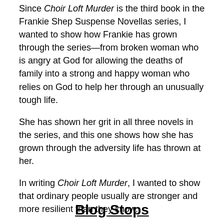Since Choir Loft Murder is the third book in the Frankie Shep Suspense Novellas series, I wanted to show how Frankie has grown through the series—from broken woman who is angry at God for allowing the deaths of family into a strong and happy woman who relies on God to help her through an unusually tough life.
She has shown her grit in all three novels in the series, and this one shows how she has grown through the adversity life has thrown at her.
In writing Choir Loft Murder, I wanted to show that ordinary people usually are stronger and more resilient than they know.
Blog Stops